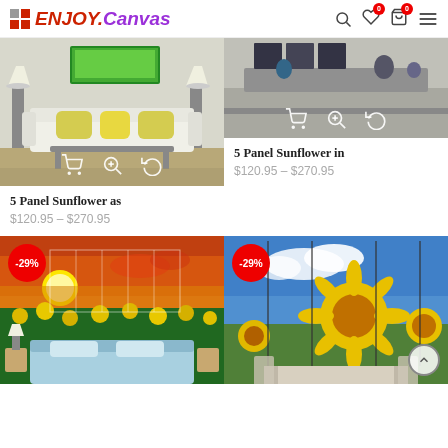ENJOY.Canvas
[Figure (photo): Living room scene with white sofa, yellow cushions, floor lamps, and canvas artwork above sofa]
[Figure (photo): Gray room interior with furniture and canvas art with overlay icons]
5 Panel Sunflower in
$120.95 – $270.95
5 Panel Sunflower as
$120.95 – $270.95
[Figure (photo): Sunflower field at sunset 5-panel canvas art displayed in bedroom scene, -29% discount badge]
[Figure (photo): Sunflower close-up 5-panel canvas art displayed in dining room scene, -29% discount badge]